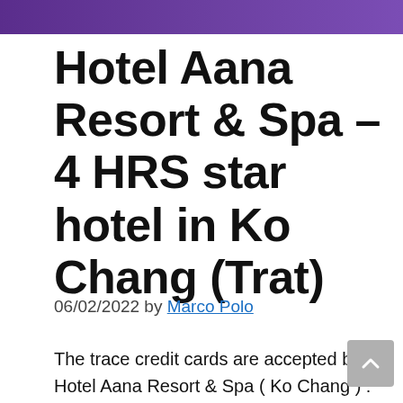[Figure (illustration): Purple/violet gradient banner strip at the top of the page]
Hotel Aana Resort & Spa – 4 HRS star hotel in Ko Chang (Trat)
06/02/2022 by Marco Polo
The trace credit cards are accepted by Hotel Aana Resort & Spa ( Ko Chang ) : Parking immediately by the hotel The hotel AANA Resort & Spa on the island of Koh Chang espouses a philosophy of providing modern